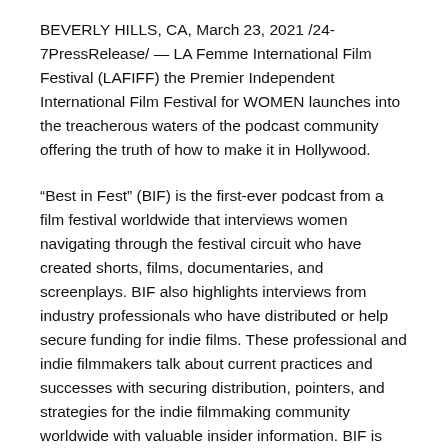BEVERLY HILLS, CA, March 23, 2021 /24-7PressRelease/ — LA Femme International Film Festival (LAFIFF) the Premier Independent International Film Festival for WOMEN launches into the treacherous waters of the podcast community offering the truth of how to make it in Hollywood.
“Best in Fest” (BIF) is the first-ever podcast from a film festival worldwide that interviews women navigating through the festival circuit who have created shorts, films, documentaries, and screenplays. BIF also highlights interviews from industry professionals who have distributed or help secure funding for indie films. These professional and indie filmmakers talk about current practices and successes with securing distribution, pointers, and strategies for the indie filmmaking community worldwide with valuable insider information. BIF is available starting Tuesday, March 23, 2021; a weekly